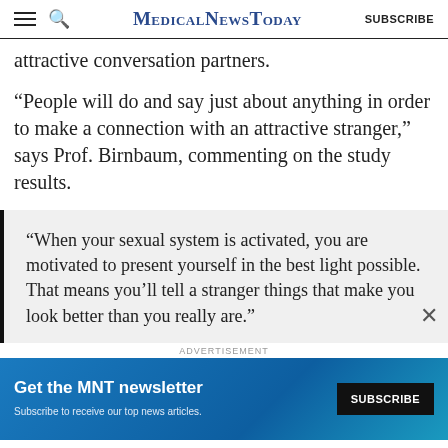MedicalNewsToday SUBSCRIBE
attractive conversation partners.
“People will do and say just about anything in order to make a connection with an attractive stranger,” says Prof. Birnbaum, commenting on the study results.
“When your sexual system is activated, you are motivated to present yourself in the best light possible. That means you’ll tell a stranger things that make you look better than you really are.”
ADVERTISEMENT
Get the MNT newsletter Subscribe to receive our top news articles. SUBSCRIBE